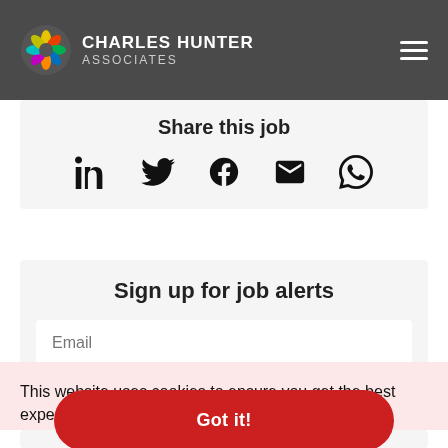CHARLES HUNTER ASSOCIATES
Share this job
[Figure (infographic): Social share icons: LinkedIn, Twitter, Facebook, Email, WhatsApp]
Sign up for job alerts
Email
This website uses cookies to ensure you get the best experience. read more
Got it!